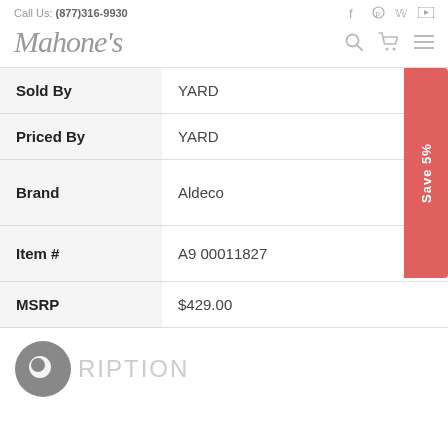Call Us: (877)316-9930
[Figure (logo): Mahone's script logo with search, cart, and menu icons]
| Field | Value |
| --- | --- |
| Sold By | YARD |
| Priced By | YARD |
| Brand | Aldeco |
| Item # | A9 00011827 |
| MSRP | $429.00 |
DESCRIPTION